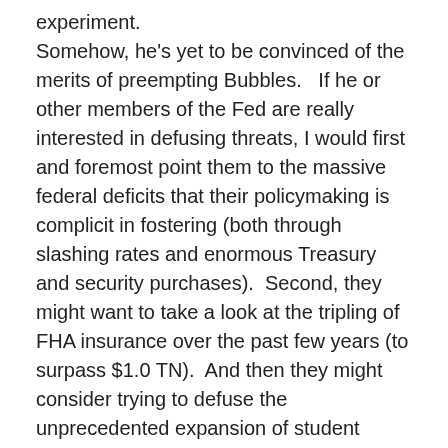experiment. Somehow, he's yet to be convinced of the merits of preempting Bubbles.   If he or other members of the Fed are really interested in defusing threats, I would first and foremost point them to the massive federal deficits that their policymaking is complicit in fostering (both through slashing rates and enormous Treasury and security purchases).  Second, they might want to take a look at the tripling of FHA insurance over the past few years (to surpass $1.0 TN).  And then they might consider trying to defuse the unprecedented expansion of student loans that poses risk to millions of borrowers as well as the American taxpayer.  They might ponder the underlying issue of rampant inflation in the cost of higher education.  I would also suggest taking a deep dive into “derivatives,” although I am confident they don’t want to go there.  How